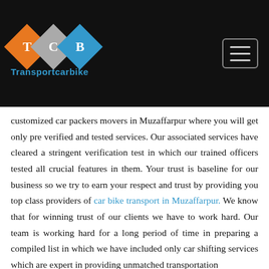Transportcarbike
customized car packers movers in Muzaffarpur where you will get only pre verified and tested services. Our associated services have cleared a stringent verification test in which our trained officers tested all crucial features in them. Your trust is baseline for our business so we try to earn your respect and trust by providing you top class providers of car bike transport in Muzaffarpur. We know that for winning trust of our clients we have to work hard. Our team is working hard for a long period of time in preparing a compiled list in which we have included only car shifting services which are expert in providing unmatched transportation